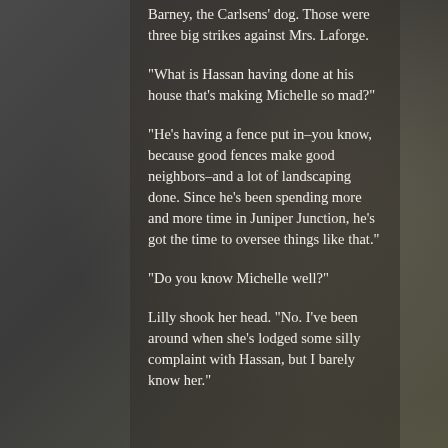Barney, the Carlsens' dog. Those were three big strikes against Mrs. Laforge.
“What is Hassan having done at his house that’s making Michelle so mad?”
“He’s having a fence put in–you know, because good fences make good neighbors–and a lot of landscaping done. Since he’s been spending more and more time in Juniper Junction, he’s got the time to oversee things like that.”
“Do you know Michelle well?”
Lilly shook her head. “No. I’ve been around when she’s lodged some silly complaint with Hassan, but I barely know her.”